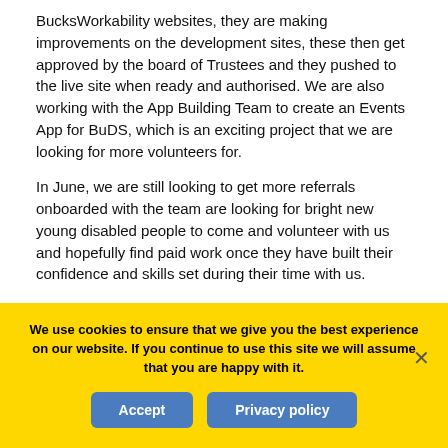BucksWorkability websites, they are making improvements on the development sites, these then get approved by the board of Trustees and they pushed to the live site when ready and authorised. We are also working with the App Building Team to create an Events App for BuDS, which is an exciting project that we are looking for more volunteers for.
In June, we are still looking to get more referrals onboarded with the team are looking for bright new young disabled people to come and volunteer with us and hopefully find paid work once they have built their confidence and skills set during their time with us.
The Back 4Work Team are there to help support those
We use cookies to ensure that we give you the best experience on our website. If you continue to use this site we will assume that you are happy with it.